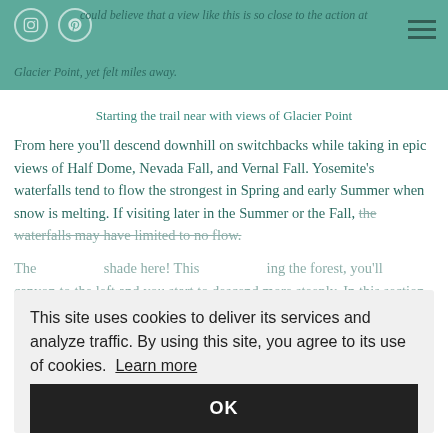could believe that a view like this is so close to the action at Glacier Point, yet felt miles away.
Starting the trail near with views of Glacier Point
From here you'll descend downhill on switchbacks while taking in epic views of Half Dome, Nevada Fall, and Vernal Fall. Yosemite's waterfalls tend to flow the strongest in Spring and early Summer when snow is melting. If visiting later in the Summer or the Fall, the waterfalls may have limited to no flow.
The ... shade here! This ... ing the forest, you'll ... canyon to the left and you start to descend more steeply. In this section, you'll pass through dense brush. Beware that you may hear a deer coming sounds coming from the brush in this area. Honestly, I was concerned it could be a bear, even though I had my bear spray at the ready. In talking with other hikers, I learned it was probably a
This site uses cookies to deliver its services and analyze traffic. By using this site, you agree to its use of cookies. Learn more
OK